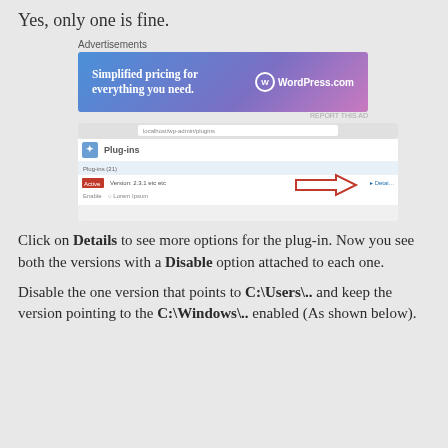Yes, only one is fine.
[Figure (screenshot): WordPress.com advertisement banner with gradient blue-to-purple background, text 'Simplified pricing for everything you need.' and WordPress.com logo]
[Figure (screenshot): Browser screenshot showing WordPress plugin management page with a red arrow pointing to 'Details' link]
Click on Details to see more options for the plug-in. Now you see both the versions with a Disable option attached to each one.
Disable the one version that points to C:\Users\.. and keep the version pointing to the C:\Windows\.. enabled (As shown below).